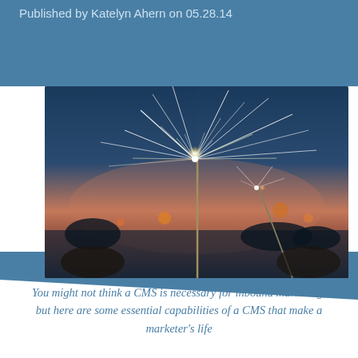Published by Katelyn Ahern on 05.28.14
[Figure (photo): Close-up photo of a lit sparkler with bright sparks against a blurred sunset background with warm orange and purple tones, with hands visible holding sparklers]
You might not think a CMS is necessary for inbound marketing, but here are some essential capabilities of a CMS that make a marketer's life